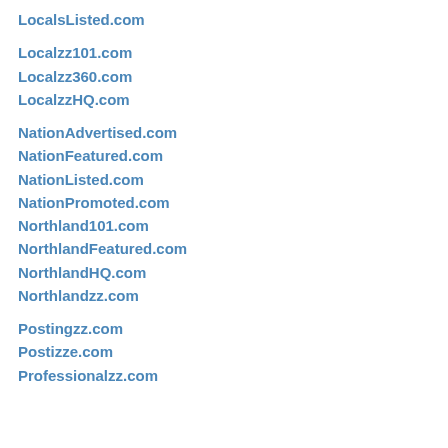LocalsListed.com
Localzz101.com
Localzz360.com
LocalzzHQ.com
NationAdvertised.com
NationFeatured.com
NationListed.com
NationPromoted.com
Northland101.com
NorthlandFeatured.com
NorthlandHQ.com
Northlandzz.com
Postingzz.com
Postizze.com
Professionalzz.com